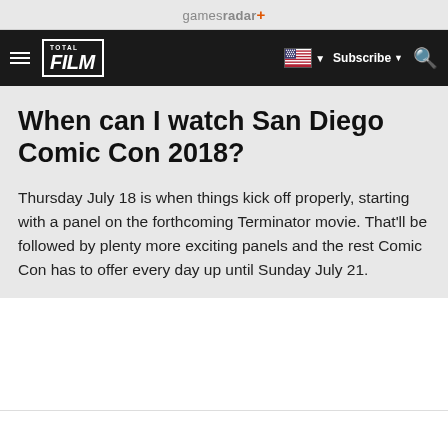gamesradar+
[Figure (logo): Total Film logo and navigation bar with hamburger menu, US flag, Subscribe, and search icon]
When can I watch San Diego Comic Con 2018?
Thursday July 18 is when things kick off properly, starting with a panel on the forthcoming Terminator movie. That’ll be followed by plenty more exciting panels and the rest Comic Con has to offer every day up until Sunday July 21.